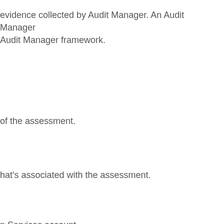evidence collected by Audit Manager. An Audit Manager Audit Manager framework.
of the assessment.
hat's associated with the assessment.
n Services account.
ed with the Amazon Web Services account.
rvices account.